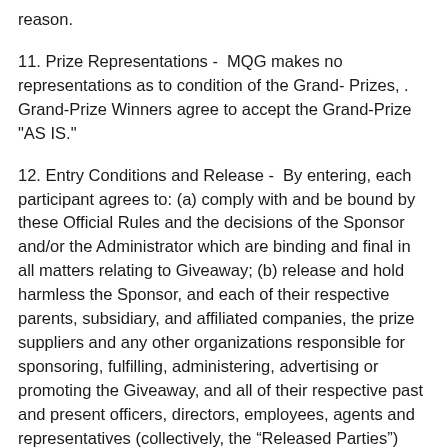reason.
11. Prize Representations -  MQG makes no representations as to condition of the Grand- Prizes, . Grand-Prize Winners agree to accept the Grand-Prize "AS IS."
12. Entry Conditions and Release -  By entering, each participant agrees to: (a) comply with and be bound by these Official Rules and the decisions of the Sponsor and/or the Administrator which are binding and final in all matters relating to Giveaway; (b) release and hold harmless the Sponsor, and each of their respective parents, subsidiary, and affiliated companies, the prize suppliers and any other organizations responsible for sponsoring, fulfilling, administering, advertising or promoting the Giveaway, and all of their respective past and present officers, directors, employees, agents and representatives (collectively, the “Released Parties”) from any and all claims, actions, injuries, losses, liabilities, damages or causes of action of every kind and